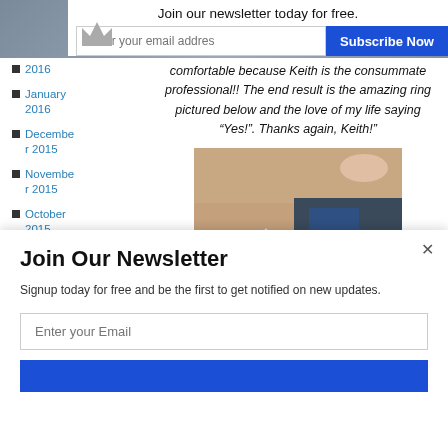Join our newsletter today for free.
Enter your email addres
Subscribe Now
2016
January 2016
December 2015
November 2015
October 2015
September 2015
August
comfortable because Keith is the consummate professional!! The end result is the amazing ring pictured below and the love of my life saying “Yes!”. Thanks again, Keith!”
[Figure (photo): Hand wearing a diamond engagement ring against a dark background]
Join Our Newsletter
Signup today for free and be the first to get notified on new updates.
Enter your Email